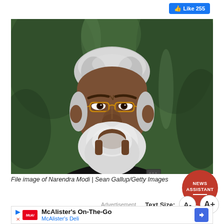[Figure (photo): File image of Narendra Modi, Indian Prime Minister, wearing a black traditional Indian jacket (bandhgala/Nehru jacket) with white hair and white beard, standing against a green foliage background. He is wearing thin-framed glasses.]
File image of Narendra Modi | Sean Gallup/Getty Images
Advertisement   Text Size:  A-  A+
McAlister's On-The-Go
McAlister's Deli